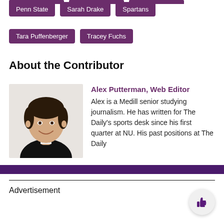Penn State
Sarah Drake
Spartans
Tara Puffenberger
Tracey Fuchs
About the Contributor
[Figure (photo): Headshot of Alex Putterman, a young man with dark hair wearing a black shirt, smiling at the camera.]
Alex Putterman, Web Editor
Alex is a Medill senior studying journalism. He has written for The Daily's sports desk since his first quarter at NU. His past positions at The Daily
Advertisement